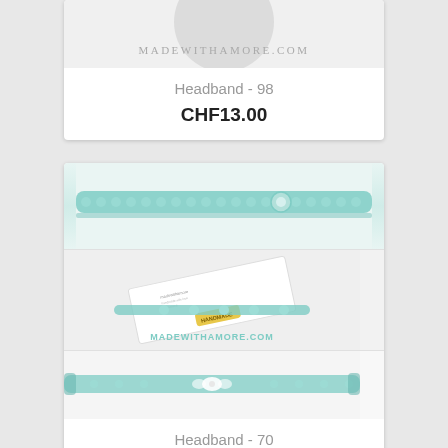[Figure (photo): Top portion of a product card showing a circular object/tag with the watermark text MADEWITHAMORE.COM and a light gray circle shape, partially cropped at the top]
Headband - 98
CHF13.00
[Figure (photo): Product collage of three images: top image shows a teal/mint beaded headband with a small flower detail against white background; middle image shows the headband on a business card/packaging with MADEWITHAMORE.COM watermark; bottom image shows another view of a beaded headband with white bow detail]
Headband - 70
CHF13.00